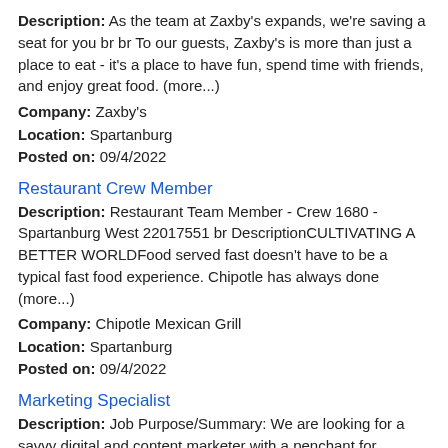Description: As the team at Zaxby's expands, we're saving a seat for you br br To our guests, Zaxby's is more than just a place to eat - it's a place to have fun, spend time with friends, and enjoy great food. (more...)
Company: Zaxby's
Location: Spartanburg
Posted on: 09/4/2022
Restaurant Crew Member
Description: Restaurant Team Member - Crew 1680 - Spartanburg West 22017551 br DescriptionCULTIVATING A BETTER WORLDFood served fast doesn't have to be a typical fast food experience. Chipotle has always done (more...)
Company: Chipotle Mexican Grill
Location: Spartanburg
Posted on: 09/4/2022
Marketing Specialist
Description: Job Purpose/Summary: We are looking for a savvy digital and content marketer with a penchant for developing, planning, and writing engaging content. You will be responsible for helping to contribute to (more...)
Company: Polydeck
Location: Spartanburg